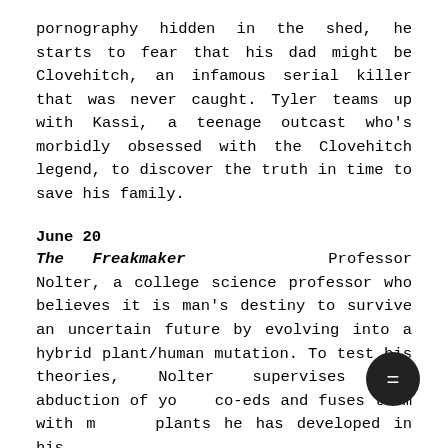pornography hidden in the shed, he starts to fear that his dad might be Clovehitch, an infamous serial killer that was never caught. Tyler teams up with Kassi, a teenage outcast who's morbidly obsessed with the Clovehitch legend, to discover the truth in time to save his family.
June 20
The Freakmaker   Professor Nolter, a college science professor who believes it is man's destiny to survive an uncertain future by evolving into a hybrid plant/human mutation. To test his theories, Nolter supervises the abduction of young co-eds and fuses them with mutant plants he has developed in his